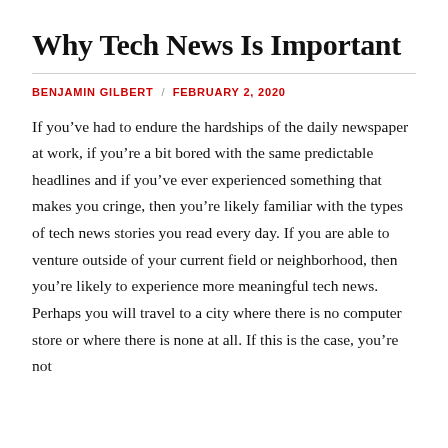Why Tech News Is Important
BENJAMIN GILBERT / FEBRUARY 2, 2020
If you’ve had to endure the hardships of the daily newspaper at work, if you’re a bit bored with the same predictable headlines and if you’ve ever experienced something that makes you cringe, then you’re likely familiar with the types of tech news stories you read every day. If you are able to venture outside of your current field or neighborhood, then you’re likely to experience more meaningful tech news. Perhaps you will travel to a city where there is no computer store or where there is none at all. If this is the case, you’re not